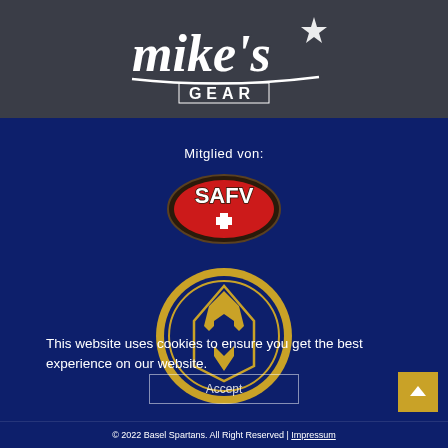[Figure (logo): Mike's Gear logo - white script text on dark grey background]
[Figure (logo): SAFV football association logo - red text on football shape with dark border]
Mitglied von:
[Figure (logo): Basel Spartans logo - gold circle with blue Spartan helmet]
This website uses cookies to ensure you get the best experience on our website.
Accept
© 2022 Basel Spartans. All Right Reserved | Impressum